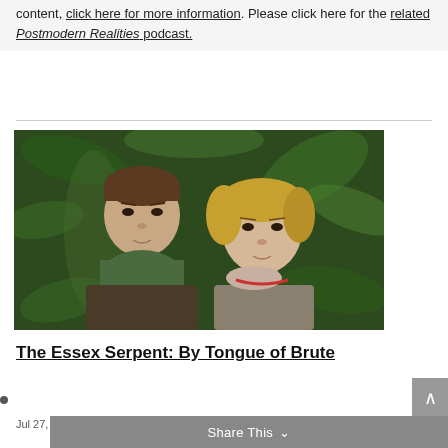content, click here for more information. Please click here for the related Postmodern Realities podcast.
[Figure (photo): Promotional photo for The Essex Serpent TV series showing two actors — a man with dark hair and a green scarf and a woman with blonde hair — against a dark green botanical/floral background.]
The Essex Serpent: By Tongue of Brute
Jul 27, 2022 | Christian Articles